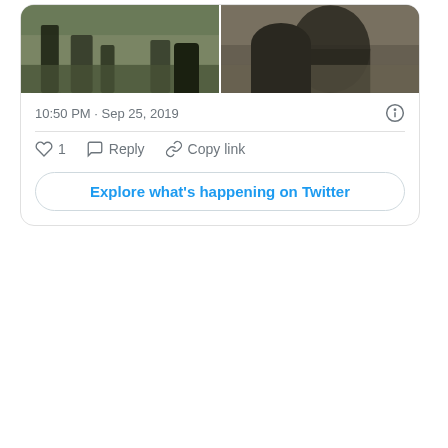[Figure (screenshot): Two side-by-side video stills embedded in a tweet. Left image shows a person's lower body and feet on a tiled floor. Right image shows a person leaning/sitting, wearing a dark shirt.]
10:50 PM · Sep 25, 2019
♡ 1   Reply   Copy link
Explore what's happening on Twitter